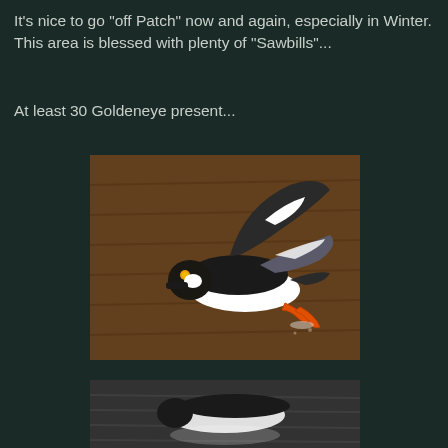It's nice to go "off Patch" now and again, especially in Winter. This area is blessed with plenty of "Sawbills"...
At least 30 Goldeneye present...
[Figure (photo): A Goldeneye duck in flight over brown water, black and white plumage with orange feet, wings raised upward]
[Figure (photo): Partial view of waterfowl on water, black and white coloring, bottom of page]